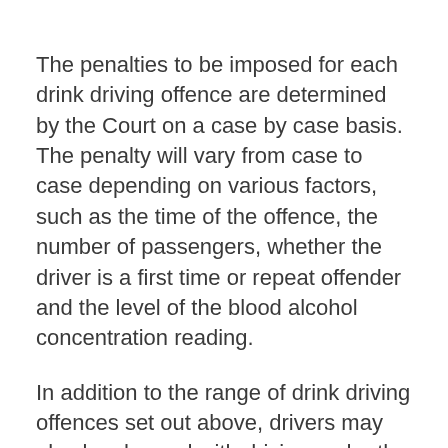The penalties to be imposed for each drink driving offence are determined by the Court on a case by case basis. The penalty will vary from case to case depending on various factors, such as the time of the offence, the number of passengers, whether the driver is a first time or repeat offender and the level of the blood alcohol concentration reading.
In addition to the range of drink driving offences set out above, drivers may also be charged with driving under the influence of alcohol or refusing/failing to provide a breath test or analysis. If you are in legal trouble for refusing a breath